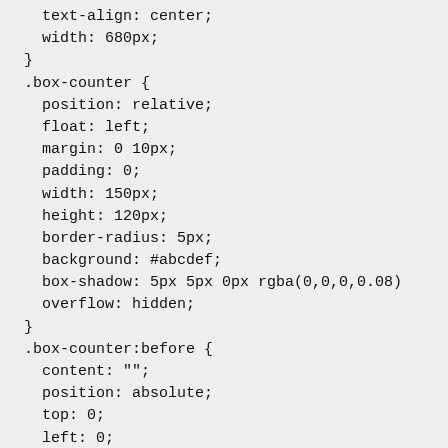text-align: center;
  width: 680px;
}
.box-counter {
  position: relative;
  float: left;
  margin: 0 10px;
  padding: 0;
  width: 150px;
  height: 120px;
  border-radius: 5px;
  background: #abcdef;
  box-shadow: 5px 5px 0px rgba(0,0,0,0.08)
  overflow: hidden;
}
.box-counter:before {
  content: "";
  position: absolute;
  top: 0;
  left: 0;
  width: 100%;
  height: 100%;
  border-radius: 5px;